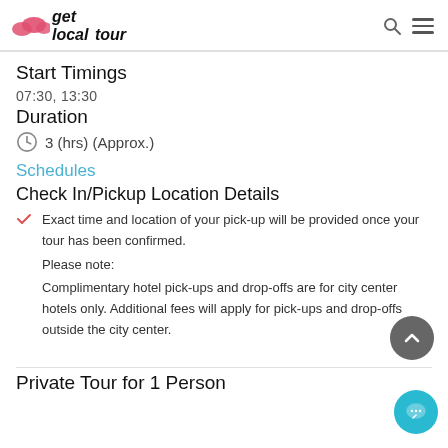get local tour
Start Timings
07:30,  13:30
Duration
3 (hrs) (Approx.)
Schedules
Check In/Pickup Location Details
Exact time and location of your pick-up will be provided once your tour has been confirmed.
Please note:
Complimentary hotel pick-ups and drop-offs are for city center hotels only. Additional fees will apply for pick-ups and drop-offs outside the city center.
Private Tour for 1 Person